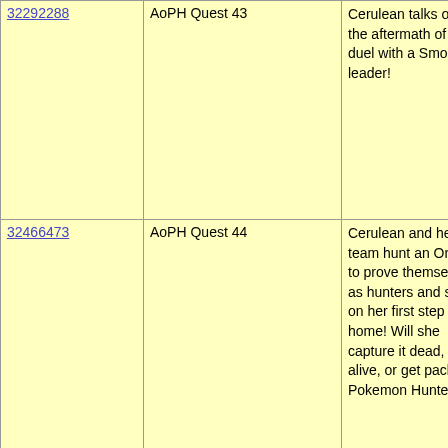| ID | Name | Description |
| --- | --- | --- |
| 32292288 | AoPH Quest 43 | Cerulean talks out the aftermath of her duel with a Smolder leader! |
| 32466473 | AoPH Quest 44 | Cerulean and her team hunt an Ordile to prove themselves as hunters and start on her first step home! Will she capture it dead, alive, or get sent packing? Pokemon Hunter! |
| June 2014 |  |  |
| 32724536 | AoPH Quest 45 | Cerulean chooses her name amongst the Guild to welcome her into their ranks. Yet, what might the governer of this city have to say about stran... |